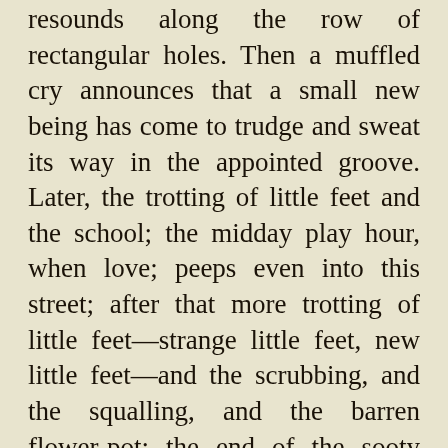resounds along the row of rectangular holes. Then a muffled cry announces that a small new being has come to trudge and sweat its way in the appointed groove. Later, the trotting of little feet and the school; the midday play hour, when love; peeps even into this street; after that more trotting of little feet—strange little feet, new little feet—and the scrubbing, and the squalling, and the barren flower-pot; the end of the sooty day's work; the last home-coming; nightfall; sleep.
When love's light falls into some corner of the street, it falls at an early hour of this mean life, and is itself but a dusty ray. It falls early, because it is the only bright thing which the